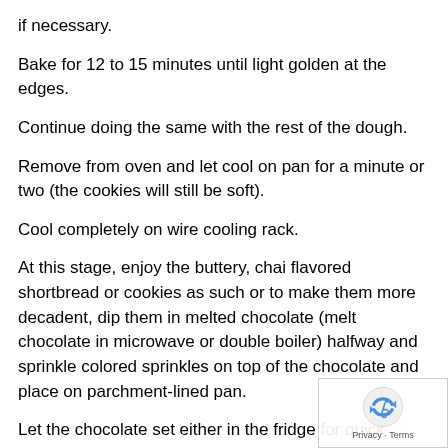if necessary.
Bake for 12 to 15 minutes until light golden at the edges.
Continue doing the same with the rest of the dough.
Remove from oven and let cool on pan for a minute or two (the cookies will still be soft).
Cool completely on wire cooling rack.
At this stage, enjoy the buttery, chai flavored shortbread or cookies as such or to make them more decadent, dip them in melted chocolate (melt chocolate in microwave or double boiler) halfway and sprinkle colored sprinkles on top of the chocolate and place on parchment-lined pan.
Let the chocolate set either in the fridge for quick setting or on the counter.
[Figure (logo): reCAPTCHA logo with privacy and terms links]